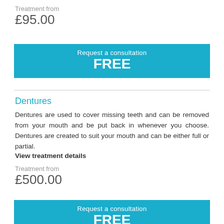Treatment from
£95.00
Request a consultation FREE
Dentures
Dentures are used to cover missing teeth and can be removed from your mouth and be put back in whenever you choose. Dentures are created to suit your mouth and can be either full or partial. View treatment details
Treatment from
£500.00
Request a consultation FREE